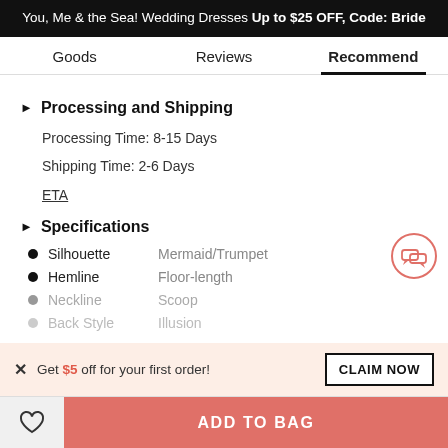You, Me & the Sea! Wedding Dresses Up to $25 OFF, Code: Bride
Goods | Reviews | Recommend
Processing and Shipping
Processing Time: 8-15 Days
Shipping Time: 2-6 Days
ETA
Specifications
Silhouette — Mermaid/Trumpet
Hemline — Floor-length
Neckline — Scoop
Back Style — Illusion
Get $5 off for your first order! CLAIM NOW
ADD TO BAG